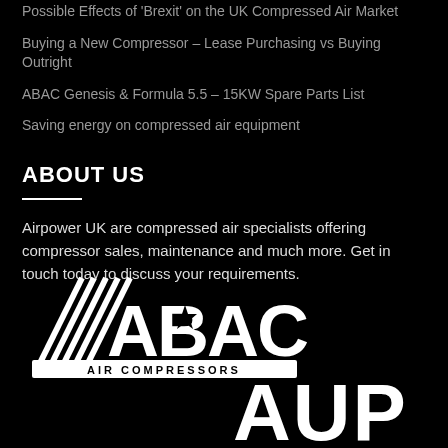Possible Effects of 'Brexit' on the UK Compressed Air Market
Buying a New Compressor – Lease Purchasing vs Buying Outright
ABAC Genesis & Formula 5.5 – 15KW Spare Parts List
Saving energy on compressed air equipment
ABOUT US
Airpower UK are compressed air specialists offering compressor sales, maintenance and much more. Get in touch today to discuss your requirements.
[Figure (logo): ABAC Air Compressors logo in white on black background]
[Figure (logo): AUP logo partial, white letters on black background, bottom right]